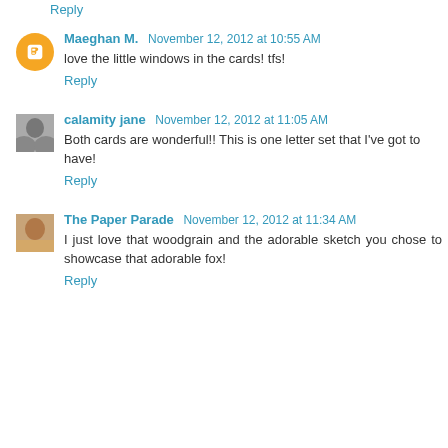Reply
Maeghan M.  November 12, 2012 at 10:55 AM
love the little windows in the cards! tfs!
Reply
calamity jane  November 12, 2012 at 11:05 AM
Both cards are wonderful!! This is one letter set that I've got to have!
Reply
The Paper Parade  November 12, 2012 at 11:34 AM
I just love that woodgrain and the adorable sketch you chose to showcase that adorable fox!
Reply